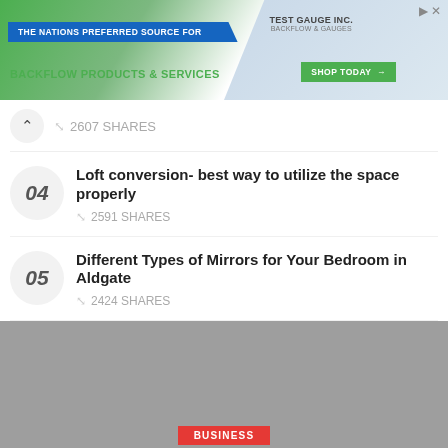[Figure (screenshot): Banner advertisement for backflow products and services from Test Gauge Inc with shop today button]
2607 SHARES
04 Loft conversion- best way to utilize the space properly — 2591 SHARES
05 Different Types of Mirrors for Your Bedroom in Aldgate — 2424 SHARES
[Figure (photo): Gray placeholder image with BUSINESS category badge and article title: A Guide To Rigid Cardboard Box For Product Packaging]
BUSINESS
A Guide To Rigid Cardboard Box For Product Packaging